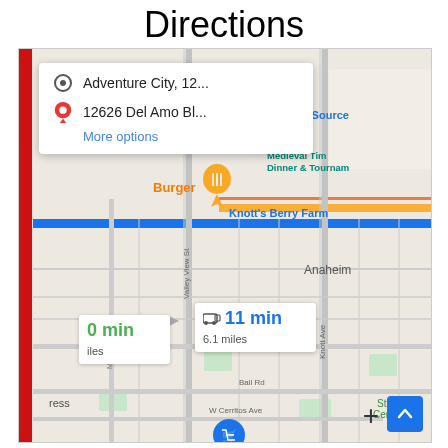Directions
[Figure (screenshot): Google Maps screenshot showing directions from Adventure City, 12... to 12626 Del Amo Bl... with route options showing 0 min and 11 min (6.1 miles) driving routes. Map shows area around Knott's Berry Farm, Anaheim, with street labels including Valley View St, Knott Ave, Orange Ave, Ball Rd, W Cerritos Ave. Points of interest labeled: The Source, Medieval Times Dinner & Tournament, Burger restaurant marker.]